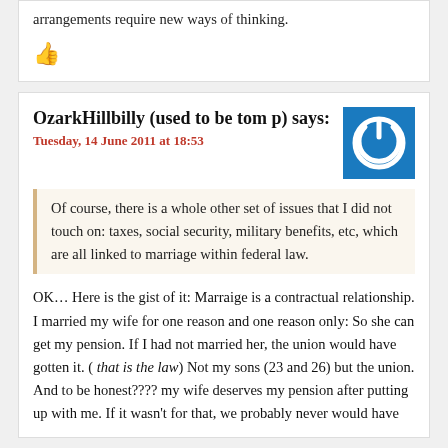arrangements require new ways of thinking.
[Figure (illustration): Thumbs up icon in red/dark red color]
OzarkHillbilly (used to be tom p) says:
Tuesday, 14 June 2011 at 18:53
[Figure (illustration): Blue square avatar with white power button symbol]
Of course, there is a whole other set of issues that I did not touch on: taxes, social security, military benefits, etc, which are all linked to marriage within federal law.
OK… Here is the gist of it: Marraige is a contractual relationship. I married my wife for one reason and one reason only: So she can get my pension. If I had not married her, the union would have gotten it. ( that is the law) Not my sons (23 and 26) but the union. And to be honest???? my wife deserves my pension after putting up with me. If it wasn't for that, we probably never would have